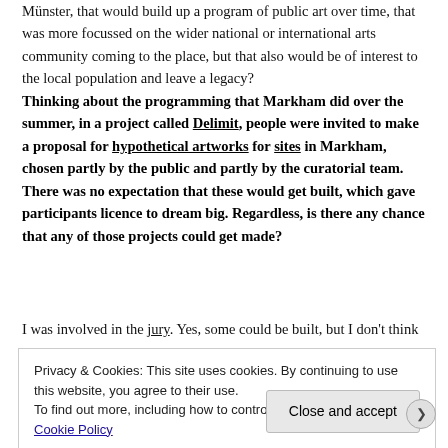Münster, that would build up a program of public art over time, that was more focussed on the wider national or international arts community coming to the place, but that also would be of interest to the local population and leave a legacy?
Thinking about the programming that Markham did over the summer, in a project called Delimit, people were invited to make a proposal for hypothetical artworks for sites in Markham, chosen partly by the public and partly by the curatorial team. There was no expectation that these would get built, which gave participants licence to dream big. Regardless, is there any chance that any of those projects could get made?
I was involved in the jury. Yes, some could be built, but I don't think
Privacy & Cookies: This site uses cookies. By continuing to use this website, you agree to their use.
To find out more, including how to control cookies, see here: Cookie Policy
Close and accept